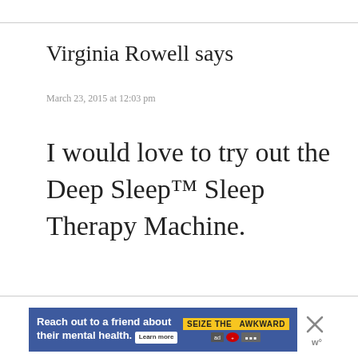Virginia Rowell says
March 23, 2015 at 12:03 pm
I would love to try out the Deep Sleep™ Sleep Therapy Machine.
[Figure (infographic): Advertisement banner: 'Reach out to a friend about their mental health. Learn more' with 'SEIZE THE AWKWARD' badge and logos, blue background. Close button (X) to the right.]